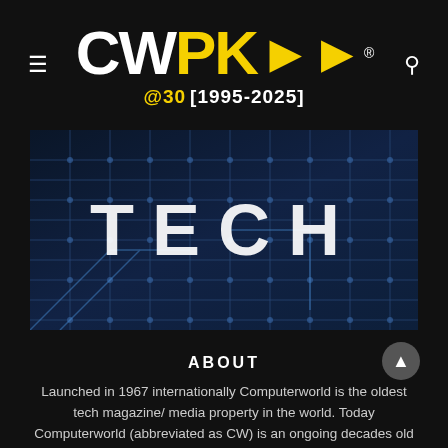CWPK>> ® @30 [1995-2025]
[Figure (photo): Circuit board close-up with white 'TECH' letters overlaid on dark blue PCB traces and solder points]
ABOUT
Launched in 1967 internationally Computerworld is the oldest tech magazine/ media property in the world. Today Computerworld (abbreviated as CW) is an ongoing decades old professional publication which in 2014 "went digital. In